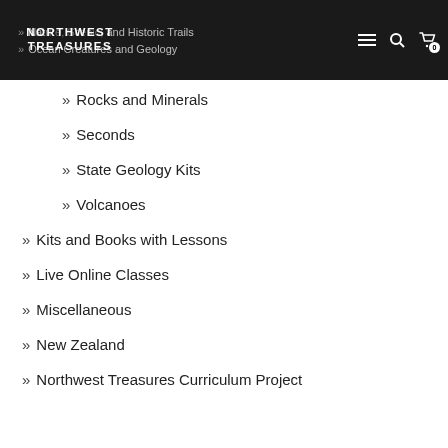NORTHWEST TREASURES
Nature, Scenic, and Historic Trails
Ocean Creatures and Geology
Rocks and Minerals
Seconds
State Geology Kits
Volcanoes
Kits and Books with Lessons
Live Online Classes
Miscellaneous
New Zealand
Northwest Treasures Curriculum Project